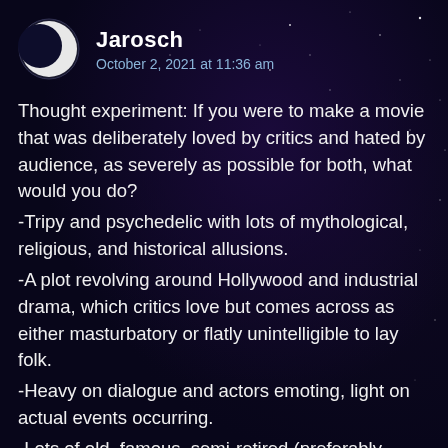Jarosch
October 2, 2021 at 11:36 am
Thought experiment: If you were to make a movie that was deliberately loved by critics and hated by audience, as severely as possible for both, what would you do?
-Tripy and psychedelic with lots of mythological, religious, and historical allusions.
-A plot revolving around Hollywood and industrial drama, which critics love but comes across as either masturbatory or flatly unintelligible to lay folk.
-Heavy on dialogue and actors emoting, light on actual events occurring.
-Lots of old, famous, semi-retired (preferably